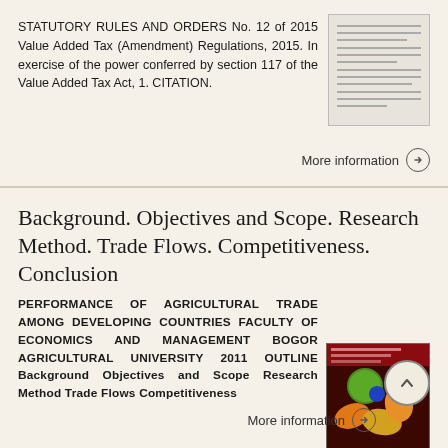STATUTORY RULES AND ORDERS No. 12 of 2015 Value Added Tax (Amendment) Regulations, 2015. In exercise of the power conferred by section 117 of the Value Added Tax Act, 1. CITATION.
[Figure (other): Thumbnail image of a document page with text lines]
More information →
Background. Objectives and Scope. Research Method. Trade Flows. Competitiveness. Conclusion
PERFORMANCE OF AGRICULTURAL TRADE AMONG DEVELOPING COUNTRIES FACULTY OF ECONOMICS AND MANAGEMENT BOGOR AGRICULTURAL UNIVERSITY 2011 OUTLINE Background Objectives and Scope Research Method Trade Flows Competitiveness
[Figure (photo): Photo of colorful tropical fruits including what appears to be mangoes and other produce against a dark background, used as book/presentation cover]
More information →